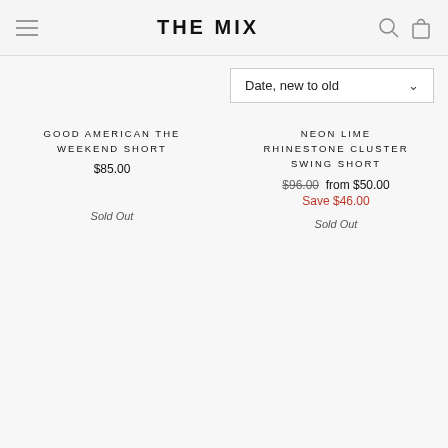THE MIX
Date, new to old
GOOD AMERICAN THE WEEKEND SHORT
$85.00
Sold Out
NEON LIME RHINESTONE CLUSTER SWING SHORT
$96.00 from $50.00 Save $46.00
Sold Out